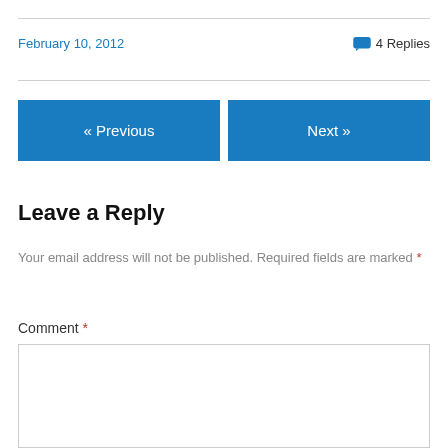February 10, 2012
4 Replies
« Previous
Next »
Leave a Reply
Your email address will not be published. Required fields are marked *
Comment *